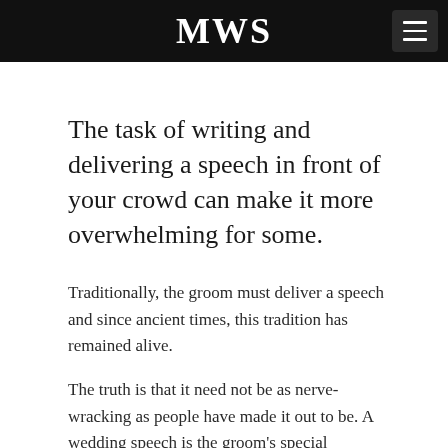MWS
The task of writing and delivering a speech in front of your crowd can make it more overwhelming for some.
Traditionally, the groom must deliver a speech and since ancient times, this tradition has remained alive.
The truth is that it need not be as nerve-wracking as people have made it out to be. A wedding speech is the groom's special opportunity of thanking his parents, wife, parents in law and other close family and friends for their